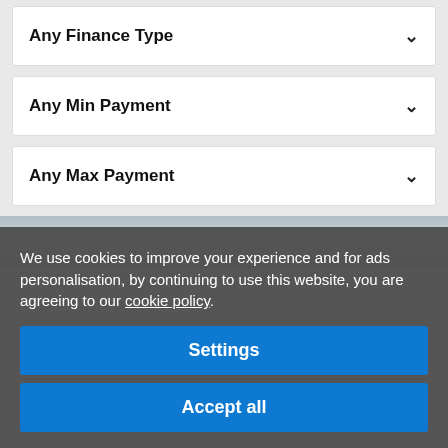Any Finance Type
Any Min Payment
Any Max Payment
[Figure (photo): Partial sky/clouds background image strip visible behind cookie consent overlay]
We use cookies to improve your experience and for ads personalisation, by continuing to use this website, you are agreeing to our cookie policy.
Settings
Accept all